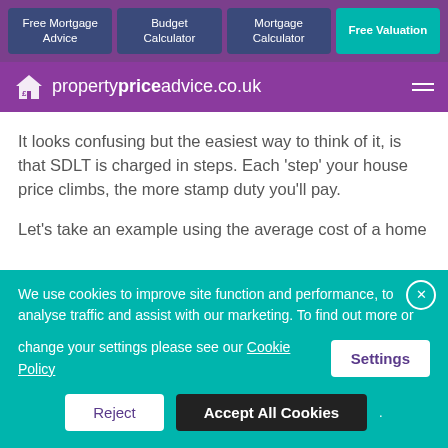Free Mortgage Advice | Budget Calculator | Mortgage Calculator | Free Valuation
propertypriceadvice.co.uk
It looks confusing but the easiest way to think of it, is that SDLT is charged in steps. Each ‘step’ your house price climbs, the more stamp duty you’ll pay.
Let’s take an example using the average cost of a home
We use cookies to improve site function and performance, to analyse traffic and assist with our marketing. To find out more or change your settings please see our Cookie Policy
Reject | Accept All Cookies